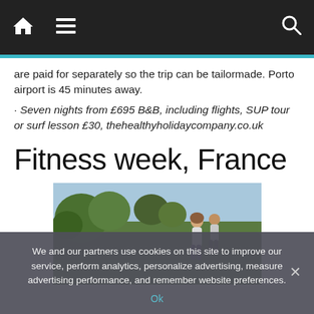Navigation bar with home, menu, and search icons
are paid for separately so the trip can be tailormade. Porto airport is 45 minutes away.
· Seven nights from £695 B&B, including flights, SUP tour or surf lesson £30, thehealthyholidaycompany.co.uk
Fitness week, France
[Figure (photo): Two people running outdoors near green hedges and trees under a blue sky]
We and our partners use cookies on this site to improve our service, perform analytics, personalize advertising, measure advertising performance, and remember website preferences.
Ok